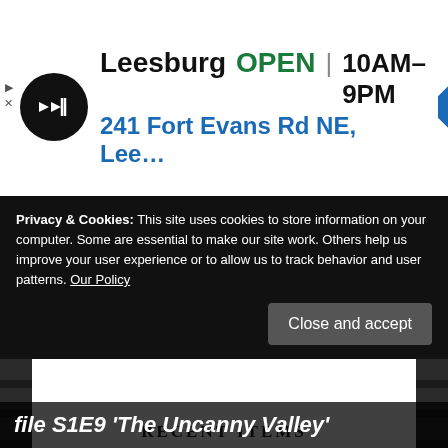[Figure (screenshot): Advertisement banner for a store in Leesburg showing it is OPEN 10AM–9PM at 241 Fort Evans Rd NE, Leesburg, with a circular black logo and a blue diamond navigation arrow icon. Small play and close controls on the left.]
[Figure (screenshot): A collapse/minimize button with an upward chevron arrow below the ad banner.]
RECENT ITEMS
Privacy & Cookies: This site uses cookies to store information on your computer. Some are essential to make our site work. Others help us improve your user experience or to allow us to track behavior and user patterns. Our Policy
[Figure (screenshot): Close and accept button (dark rounded rectangle) for cookie consent]
file S1E9 'The Uncanny Valley'